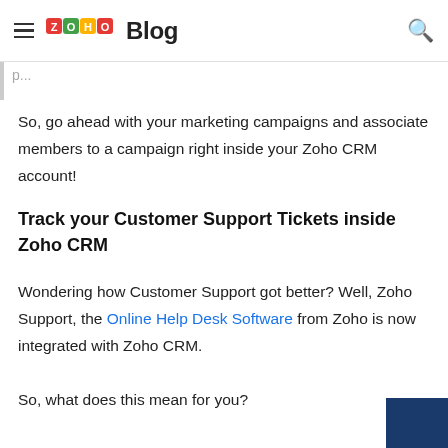ZOHO Blog
So, go ahead with your marketing campaigns and associate members to a campaign right inside your Zoho CRM account!
Track your Customer Support Tickets inside Zoho CRM
Wondering how Customer Support got better? Well, Zoho Support, the Online Help Desk Software from Zoho is now integrated with Zoho CRM.
So, what does this mean for you?